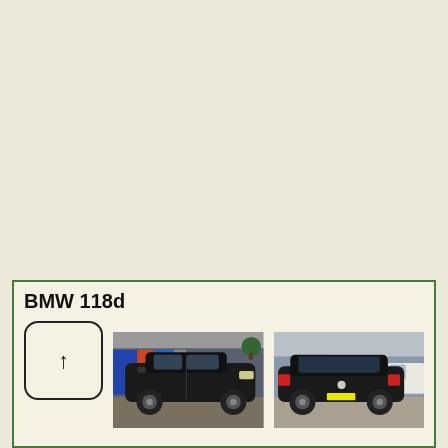BMW 118d
[Figure (photo): Placeholder icon box with upward arrow symbol]
[Figure (photo): Photo of a dark BMW 118d wagon viewed from front-left side in a yard]
[Figure (photo): Photo of a dark BMW 118d wagon viewed from rear-left side with white vehicles in background]